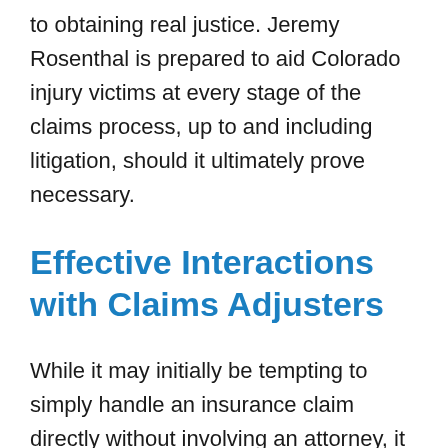to obtaining real justice. Jeremy Rosenthal is prepared to aid Colorado injury victims at every stage of the claims process, up to and including litigation, should it ultimately prove necessary.
Effective Interactions with Claims Adjusters
While it may initially be tempting to simply handle an insurance claim directly without involving an attorney, it is important for accident victims to grasp the real motivations that drive adjusters. The role of